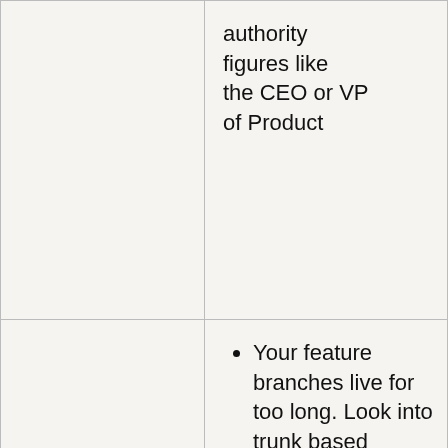|  | authority figures like the CEO or VP of Product |
| Merge hell | Your feature branches live for too long. Look into trunk based development and short-term feature branches. You need to reduce the pain of |